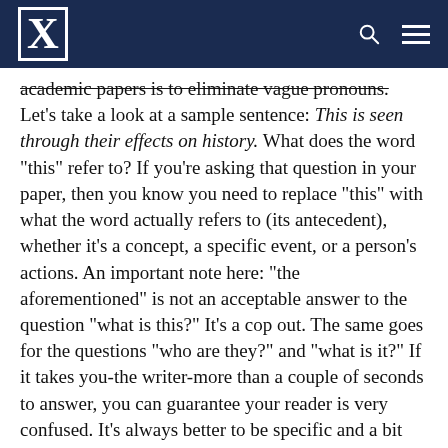Xavier University
academic papers is to eliminate vague pronouns. Let's take a look at a sample sentence: This is seen through their effects on history. What does the word "this" refer to? If you're asking that question in your paper, then you know you need to replace "this" with what the word actually refers to (its antecedent), whether it's a concept, a specific event, or a person's actions. An important note here: "the aforementioned" is not an acceptable answer to the question "what is this?" It's a cop out. The same goes for the questions "who are they?" and "what is it?" If it takes you-the writer-more than a couple of seconds to answer, you can guarantee your reader is very confused. It's always better to be specific and a bit repetitive than it is to be vague.
When in Doubt, Talk It Out: Focusing Your